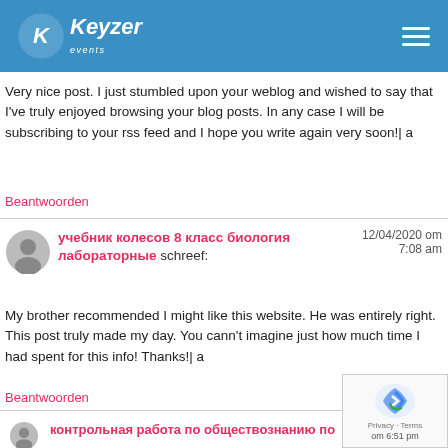Keyzer events
Very nice post. I just stumbled upon your weblog and wished to say that I've truly enjoyed browsing your blog posts. In any case I will be subscribing to your rss feed and I hope you write again very soon!| a
Beantwoorden
учебник колесов 8 класс биология лабораторные schreef:
12/04/2020 om 7:08 am
My brother recommended I might like this website. He was entirely right. This post truly made my day. You cann't imagine just how much time I had spent for this info! Thanks!| a
Beantwoorden
контрольная работа по обществознанию по
om 6:51 pm